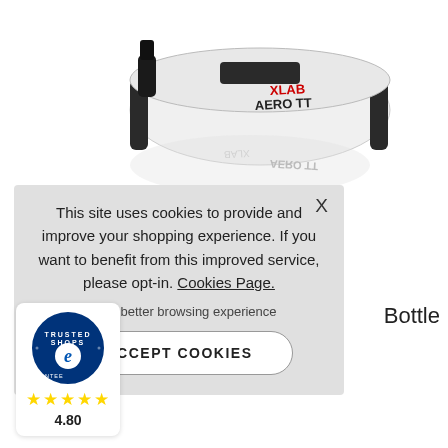[Figure (photo): XLAB Aero TT water bottle product photo on white background with reflection]
Bottle
[Figure (screenshot): Cookie consent banner overlay with close button X, cookie text, Cookies Page link, opt-in text, and ACCEPT COOKIES button]
This site uses cookies to provide and improve your shopping experience. If you want to benefit from this improved service, please opt-in. Cookies Page.
in to a better browsing experience
ACCEPT COOKIES
[Figure (logo): Trusted Shops guarantee badge with blue circular logo, gold stars rating, and score 4.80]